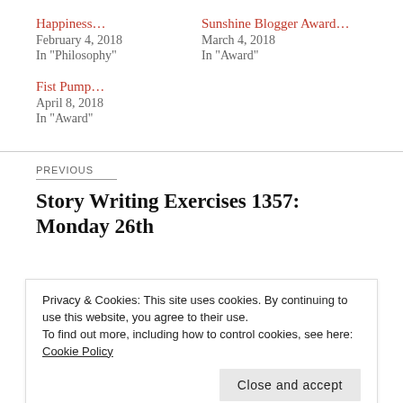Happiness…
February 4, 2018
In "Philosophy"
Sunshine Blogger Award…
March 4, 2018
In "Award"
Fist Pump…
April 8, 2018
In "Award"
PREVIOUS
Story Writing Exercises 1357: Monday 26th
Privacy & Cookies: This site uses cookies. By continuing to use this website, you agree to their use.
To find out more, including how to control cookies, see here: Cookie Policy
Close and accept
March…